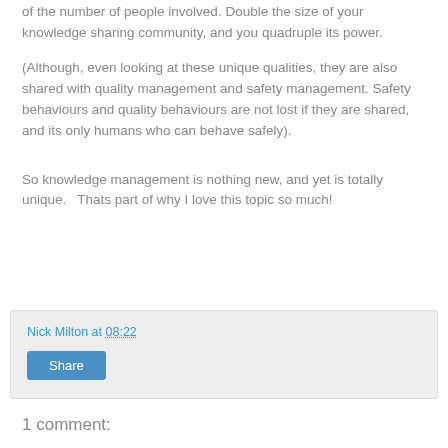of the number of people involved. Double the size of your knowledge sharing community, and you quadruple its power.
(Although, even looking at these unique qualities, they are also shared with quality management and safety management. Safety behaviours and quality behaviours are not lost if they are shared, and its only humans who can behave safely).
So knowledge management is nothing new, and yet is totally unique.   Thats part of why I love this topic so much!
Nick Milton at 08:22
Share
1 comment: